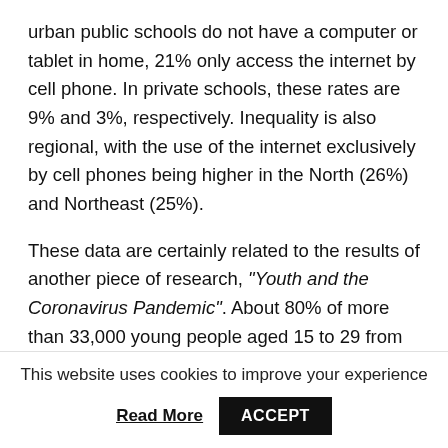urban public schools do not have a computer or tablet in home, 21% only access the internet by cell phone. In private schools, these rates are 9% and 3%, respectively. Inequality is also regional, with the use of the internet exclusively by cell phones being higher in the North (26%) and Northeast (25%).
These data are certainly related to the results of another piece of research, "Youth and the Coronavirus Pandemic". About 80% of more than 33,000 young people aged 15 to 29 from all over Brazil who answered the online questionnaire carried out some type of remote education activity in the period, but encountered great difficulties, both in terms of technological infrastructure to access content and classes, as for the emotional balance itself and the organizational
This website uses cookies to improve your experience
Read More
ACCEPT